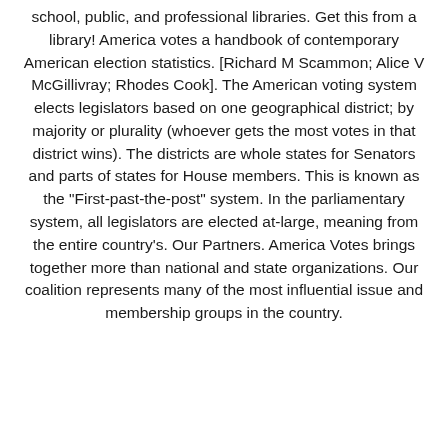school, public, and professional libraries. Get this from a library! America votes a handbook of contemporary American election statistics. [Richard M Scammon; Alice V McGillivray; Rhodes Cook]. The American voting system elects legislators based on one geographical district; by majority or plurality (whoever gets the most votes in that district wins). The districts are whole states for Senators and parts of states for House members. This is known as the "First-past-the-post" system. In the parliamentary system, all legislators are elected at-large, meaning from the entire country's. Our Partners. America Votes brings together more than national and state organizations. Our coalition represents many of the most influential issue and membership groups in the country.